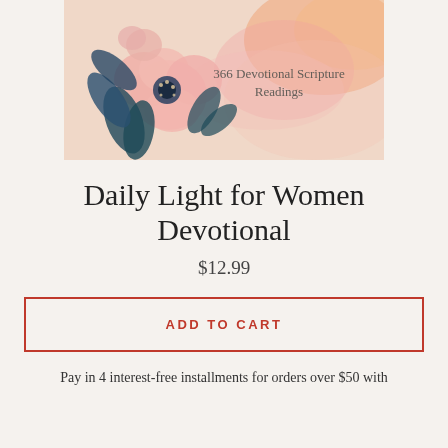[Figure (illustration): Book cover for 'Daily Light for Women Devotional' featuring watercolor floral artwork with pink flowers, blue leaves, and orange/pink watercolor background. Text on cover reads '366 Devotional Scripture Readings'.]
Daily Light for Women Devotional
$12.99
ADD TO CART
Pay in 4 interest-free installments for orders over $50 with